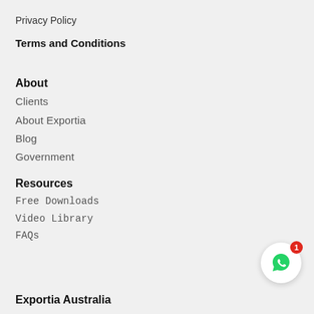Privacy Policy
Terms and Conditions
About
Clients
About Exportia
Blog
Government
Resources
Free Downloads
Video Library
FAQs
[Figure (illustration): WhatsApp chat button with red notification badge showing 1 unread message]
Exportia Australia